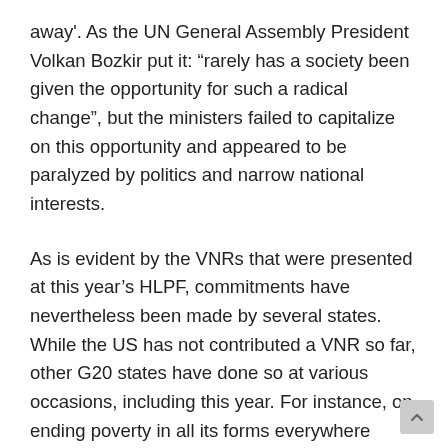away'. As the UN General Assembly President Volkan Bozkir put it: “rarely has a society been given the opportunity for such a radical change”, but the ministers failed to capitalize on this opportunity and appeared to be paralyzed by politics and narrow national interests.
As is evident by the VNRs that were presented at this year’s HLPF, commitments have nevertheless been made by several states. While the US has not contributed a VNR so far, other G20 states have done so at various occasions, including this year. For instance, on ending poverty in all its forms everywhere (SDG1), Germany highlights in its 2021 VNR that it supported and established social security